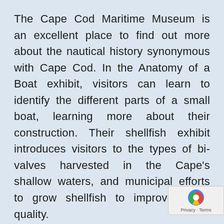The Cape Cod Maritime Museum is an excellent place to find out more about the nautical history synonymous with Cape Cod. In the Anatomy of a Boat exhibit, visitors can learn to identify the different parts of a small boat, learning more about their construction. Their shellfish exhibit introduces visitors to the types of bi-valves harvested in the Cape's shallow waters, and municipal efforts to grow shellfish to improve water quality.
Downstairs in the Cook Boat Shop, visitors can take boat building workshops or watch a skilled craftsman build or restore small b... Outside in the boatshed, visitors can exam... the museum's collection of marine vessels